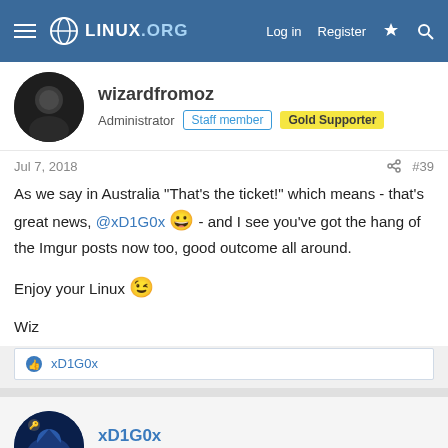Linux.org – Log in | Register
wizardfromoz
Administrator  Staff member  Gold Supporter
Jul 7, 2018  #39
As we say in Australia "That's the ticket!" which means - that's great news, @xD1G0x 😀 - and I see you've got the hang of the Imgur posts now too, good outcome all around.

Enjoy your Linux 😉

Wiz
👍 xD1G0x
xD1G0x
Member